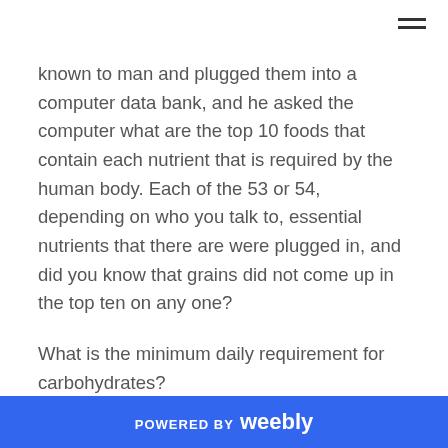known to man and plugged them into a computer data bank, and he asked the computer what are the top 10 foods that contain each nutrient that is required by the human body. Each of the 53 or 54, depending on who you talk to, essential nutrients that there are were plugged in, and did you know that grains did not come up in the top ten on any one?
What is the minimum daily requirement for carbohydrates?
ZERO.
POWERED BY weebly